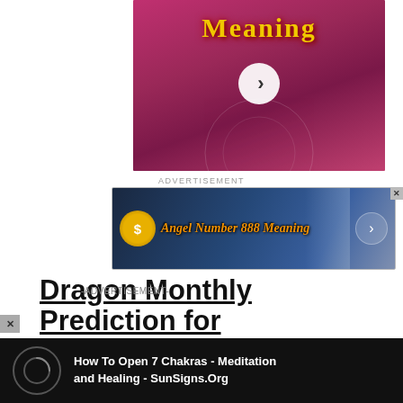[Figure (screenshot): Pink/magenta banner image with the word 'Meaning' in gold decorative font and a white circle with a right arrow chevron play button in the center]
ADVERTISEMENT
[Figure (screenshot): Advertisement banner for 'Angel Number 888 Meaning' with blue digital circuit background, gold sun icon on left, orange italic text, robot/figure on right, and a circular arrow button]
Dragon Monthly Prediction for October 2020
-ADVERTISEMENT-
[Figure (screenshot): Dark video player bar showing 'How To Open 7 Chakras - Meditation and Healing - SunSigns.Org' with a circular loading indicator on the left]